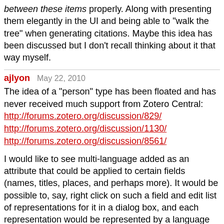between these items properly. Along with presenting them elegantly in the UI and being able to "walk the tree" when generating citations. Maybe this idea has been discussed but I don't recall thinking about it that way myself.
ajlyon   May 22, 2010
The idea of a "person" type has been floated and has never received much support from Zotero Central:
http://forums.zotero.org/discussion/829/
http://forums.zotero.org/discussion/1130/
http://forums.zotero.org/discussion/8561/
I would like to see multi-language added as an attribute that could be applied to certain fields (names, titles, places, and perhaps more). It would be possible to, say, right click on such a field and edit list of representations for it in a dialog box, and each representation would be represented by a language code (as has been done for CSL 1.0).
The treatment of people (agents, broadly) and perhaps places as